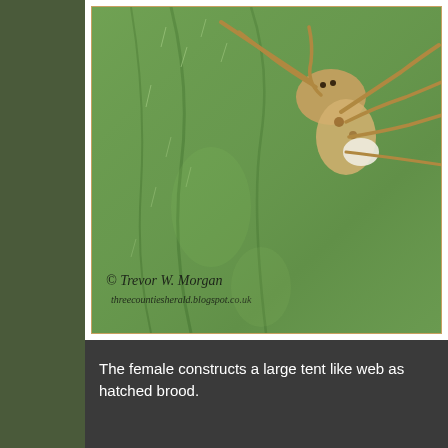[Figure (photo): Close-up macro photograph of a spider (nursery web spider) on a green leaf. The spider is brown/tan colored with long legs, positioned on a textured green leaf surface. Watermark text reads '© Trevor W. Morgan' and 'threecountiesherald.blogspot.co.uk']
The female constructs a large tent like web as hatched brood.